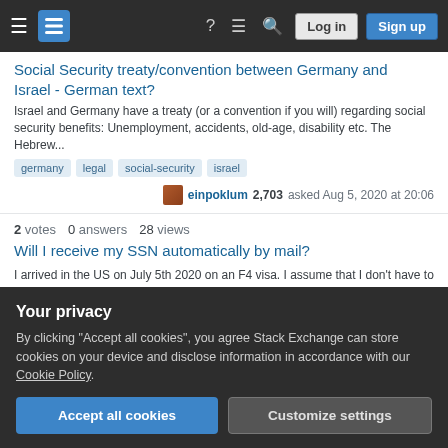Stack Exchange navigation bar with Log in and Sign up buttons
Social Security treaty/convention between Germany and Israel - German text?
Israel and Germany have a treaty (or a convention if you will) regarding social security benefits: Unemployment, accidents, old-age, disability etc. The Hebrew...
germany
legal
social-security
israel
einpoklum 2,703 asked Aug 5, 2020 at 20:06
2 votes  0 answers  28 views
Will I receive my SSN automatically by mail?
I arrived in the US on July 5th 2020 on an F4 visa. I assume that I don't have to apply for a Social Security number, considering I have asked to be issued one on the DS-...
visa
immigration
family
social-security
Your privacy
By clicking "Accept all cookies", you agree Stack Exchange can store cookies on your device and disclose information in accordance with our Cookie Policy.
Accept all cookies
Customize settings
move back to Switzerland in some years and wonder what I have to do to still get ...